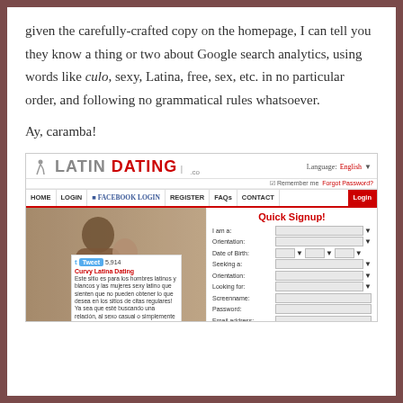given the carefully-crafted copy on the homepage, I can tell you they know a thing or two about Google search analytics, using words like culo, sexy, Latina, free, sex, etc. in no particular order, and following no grammatical rules whatsoever.
Ay, caramba!
[Figure (screenshot): Screenshot of LatinDating.co website showing logo, navigation bar with HOME, LOGIN, FACEBOOK LOGIN, REGISTER, FAQs, CONTACT, a Quick Signup form on the right, and a couple embracing on the left with a tweet box showing 'Curvy Latina Dating' and Spanish text. Tweet count shows 5,914.]